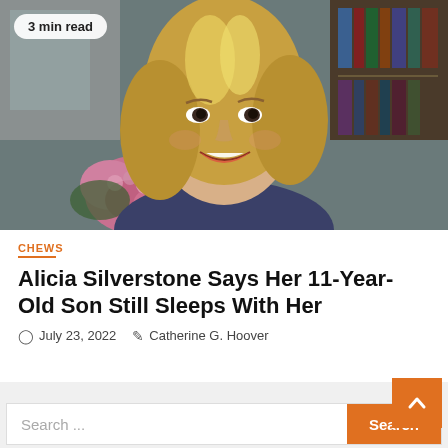[Figure (photo): A smiling young blonde woman with long hair, photographed indoors with pink flowers and bookshelves in the background. A badge reading '3 min read' appears in the top left corner.]
CHEWS
Alicia Silverstone Says Her 11-Year-Old Son Still Sleeps With Her
July 23, 2022  Catherine G. Hoover